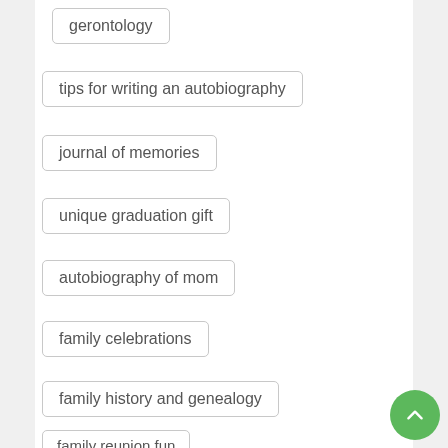gerontology
tips for writing an autobiography
journal of memories
unique graduation gift
autobiography of mom
family celebrations
family history and genealogy
family reunion fun
association of personal historians
oral history
oral history genealogy